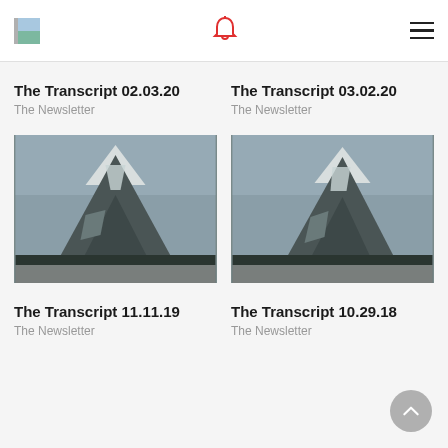App header with logo, bell notification icon, and hamburger menu
The Transcript 02.03.20
The Newsletter
The Transcript 03.02.20
The Newsletter
[Figure (photo): Mountain landscape with snow-capped peaks and grey sky]
[Figure (photo): Mountain landscape with snow-capped peaks and grey sky]
The Transcript 11.11.19
The Newsletter
The Transcript 10.29.18
The Newsletter